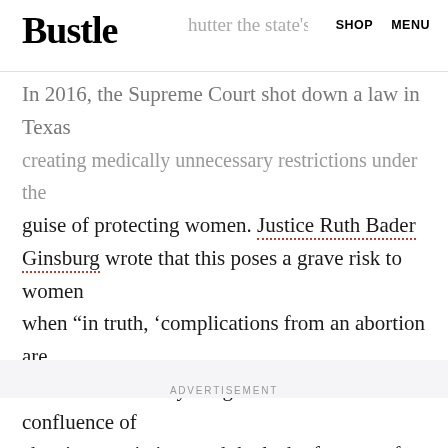Bustle  SHOP  MENU
In 2016, the Supreme Court shot down a law in Texas to shutter the state's abortion creating medically unnecessary restrictions under the guise of protecting women. Justice Ruth Bader Ginsburg wrote that this poses a grave risk to women when "in truth, 'complications from an abortion are both rare and rarely dangerous." The confluence of abortion restrictions and the lack of support for pregnant and parenting people "stack the deck" to disempower women, according to Lipton-Lubet.
ADVERTISEMENT